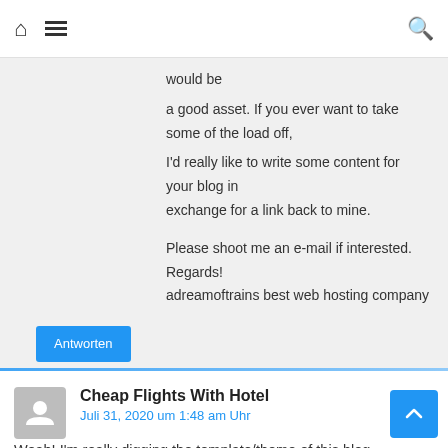Navigation bar with home icon, menu icon, search icon
would be
a good asset. If you ever want to take some of the load off,
I'd really like to write some content for your blog in exchange for a link back to mine.

Please shoot me an e-mail if interested. Regards!
adreamoftrains best web hosting company
Antworten
Cheap Flights With Hotel
Juli 31, 2020 um 1:48 am Uhr
Woah! I'm really digging the template/theme of this blog.